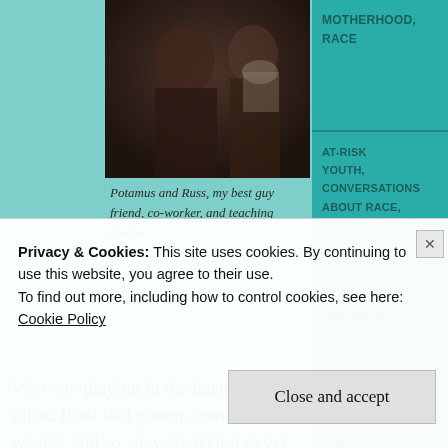[Figure (photo): Photo of two people, Potamus and Russ, in a dark/warm-toned image]
Potamus and Russ, my best guy friend, co-worker, and teaching mentor
We were playing in the backyard last night. Boof had gotten a new weed wacker and so we were trying to get some weeds trimmed down. We were drinking beer and hanging out and lovin' on our little guy
MOTHERHOOD, RACE
AT-RISK YOUTH, CONVERSATIONS ABOUT RACE, DISCRIMINATION, GEORGE ZIMMERMAN, LABELS, MOTHERHOOD, PREJUDICE, RACE, RACISM, TEACHING, TRAYVON MARTIN, TRAYVON MARTIN VERDICT, WHITE
Privacy & Cookies: This site uses cookies. By continuing to use this website, you agree to their use.
To find out more, including how to control cookies, see here:
Cookie Policy
Close and accept